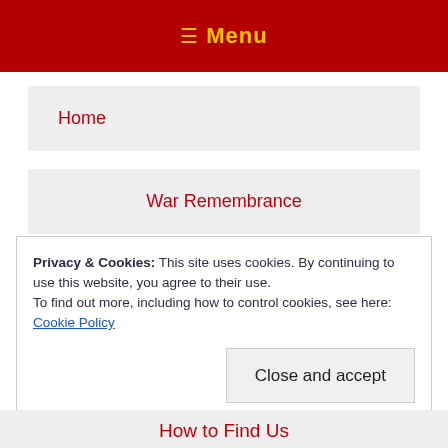≡ Menu
Home
War Remembrance
Privacy & Cookies: This site uses cookies. By continuing to use this website, you agree to their use.
To find out more, including how to control cookies, see here: Cookie Policy
Close and accept
How to Find Us